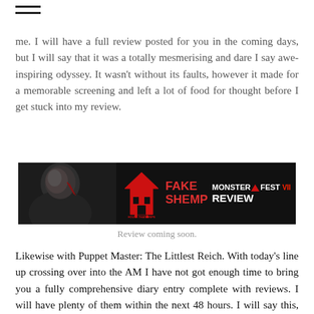≡
me. I will have a full review posted for you in the coming days, but I will say that it was a totally mesmerising and dare I say awe-inspiring odyssey. It wasn't without its faults, however it made for a memorable screening and left a lot of food for thought before I get stuck into my review.
[Figure (photo): Film review banner image showing a man's face on the left and logos for House That Drips Blood, Fake Shemp, and Monster Fest VII Review on dark background]
Review coming soon.
Likewise with Puppet Master: The Littlest Reich. With today's line up crossing over into the AM I have not got enough time to bring you a fully comprehensive diary entry complete with reviews. I will have plenty of them within the next 48 hours. I will say this, however… Puppet Master was a bloody belter!!